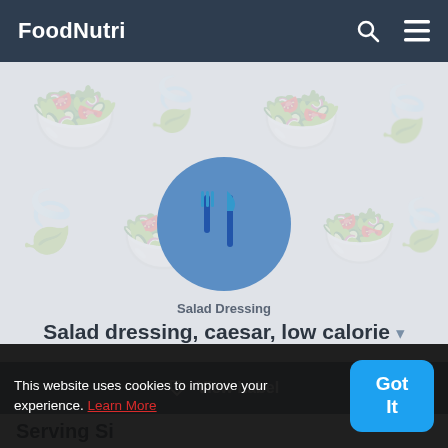FoodNutri
[Figure (screenshot): Food app hero section with circular blue fork and knife icon on grey patterned background, showing Salad Dressing category and Salad dressing, caesar, low calorie title]
View Label
Serving Si
This website uses cookies to improve your experience. Learn More
Got It